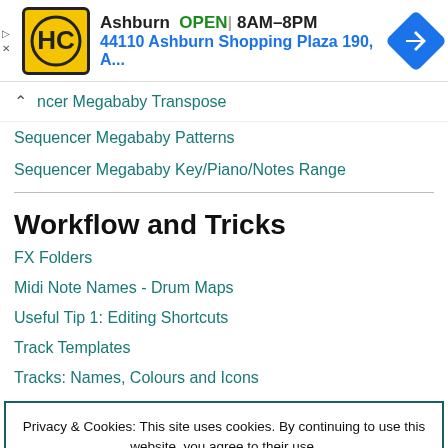[Figure (logo): Ad banner: HC logo with Ashburn store info, OPEN 8AM-8PM, 44110 Ashburn Shopping Plaza 190, A...]
Sequencer Megababy Transpose
Sequencer Megababy Patterns
Sequencer Megababy Key/Piano/Notes Range
Workflow and Tricks
FX Folders
Midi Note Names - Drum Maps
Useful Tip 1: Editing Shortcuts
Track Templates
Tracks: Names, Colours and Icons
Privacy & Cookies: This site uses cookies. By continuing to use this website, you agree to their use.
To find out more, including how to control cookies, see here: Cookie Policy
Close and accept